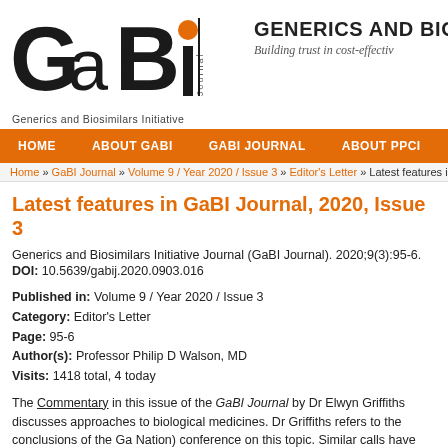[Figure (logo): GaBI Journal logo with orange circle on 'i', black letters, and tagline 'Generics and Biosimilars Initiative'. Right side shows 'GENERICS AND BIO' in bold and italic 'Building trust in cost-effectiv...']
HOME   ABOUT GABI   GABI JOURNAL   ABOUT PPCI
Home » GaBI Journal » Volume 9 / Year 2020 / Issue 3 » Editor's Letter » Latest features i
Latest features in GaBI Journal, 2020, Issue 3
Generics and Biosimilars Initiative Journal (GaBI Journal). 2020;9(3):95-6.
DOI: 10.5639/gabij.2020.0903.016
Published in: Volume 9 / Year 2020 / Issue 3
Category: Editor's Letter
Page: 95-6
Author(s): Professor Philip D Walson, MD
Visits: 1418 total, 4 today
The Commentary in this issue of the GaBI Journal by Dr Elwyn Griffiths discusses approaches to biological medicines. Dr Griffiths refers to the conclusions of the Ga... Nation) conference on this topic. Similar calls have however come from participan... called upon governments on approaches to cost-effective...